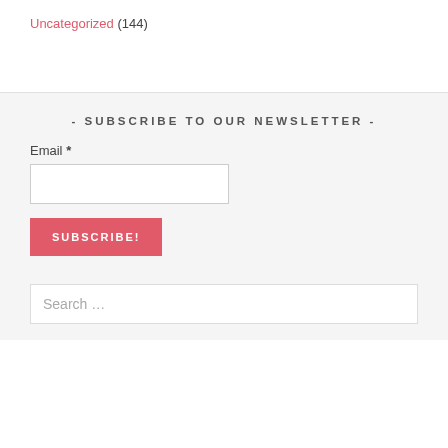Uncategorized (144)
- SUBSCRIBE TO OUR NEWSLETTER -
Email *
SUBSCRIBE!
Search ...